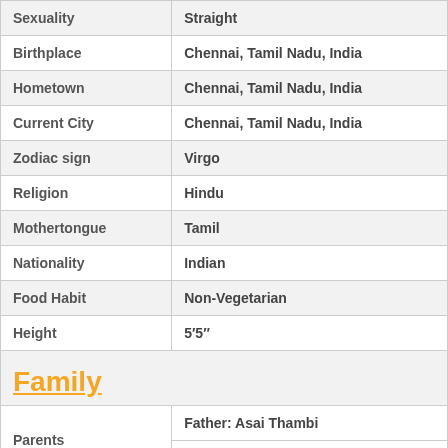| Field | Value |
| --- | --- |
| Sexuality | Straight |
| Birthplace | Chennai, Tamil Nadu, India |
| Hometown | Chennai, Tamil Nadu, India |
| Current City | Chennai, Tamil Nadu, India |
| Zodiac sign | Virgo |
| Religion | Hindu |
| Mothertongue | Tamil |
| Nationality | Indian |
| Food Habit | Non-Vegetarian |
| Height | 5′5″ |
| Family |  |
| Parents | Father: Asai Thambi | Mother: Amudha |